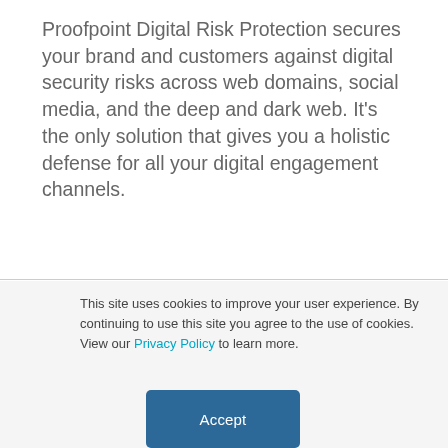Proofpoint Digital Risk Protection secures your brand and customers against digital security risks across web domains, social media, and the deep and dark web. It's the only solution that gives you a holistic defense for all your digital engagement channels.
Learn More
This site uses cookies to improve your user experience. By continuing to use this site you agree to the use of cookies. View our Privacy Policy to learn more.
Accept